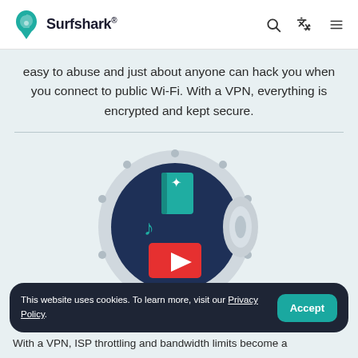Surfshark®
easy to abuse and just about anyone can hack you when you connect to public Wi-Fi. With a VPN, everything is encrypted and kept secure.
[Figure (illustration): A vault/safe door illustration with a dark navy circular interior showing a teal book with a star, teal music notes, and a red video player icon inside, representing secure content access via VPN.]
This website uses cookies. To learn more, visit our Privacy Policy.
With a VPN, ISP throttling and bandwidth limits become a